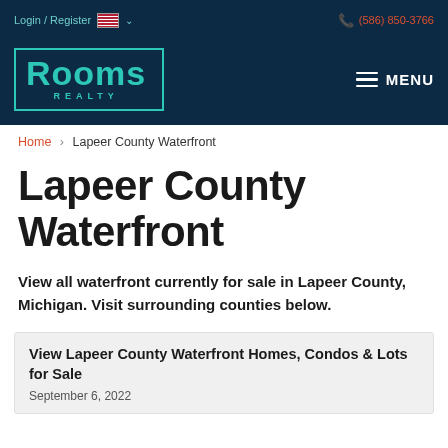Login / Register  🇺🇸 ∨   (586) 850-3766
[Figure (logo): Rooms Realty logo in teal on dark navy background with hamburger MENU button on the right]
Home > Lapeer County Waterfront
Lapeer County Waterfront
View all waterfront currently for sale in Lapeer County, Michigan. Visit surrounding counties below.
View Lapeer County Waterfront Homes, Condos & Lots for Sale
September 6, 2022